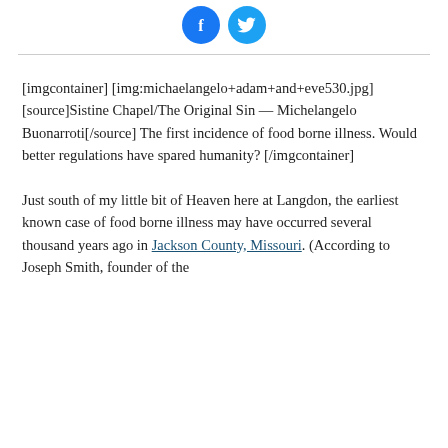[Figure (other): Social media share buttons — Facebook (blue circle with f icon) and Twitter (light blue circle with bird icon)]
[imgcontainer] [img:michaelangelo+adam+and+eve530.jpg] [source]Sistine Chapel/The Original Sin — Michelangelo Buonarroti[/source] The first incidence of food borne illness. Would better regulations have spared humanity? [/imgcontainer]
Just south of my little bit of Heaven here at Langdon, the earliest known case of food borne illness may have occurred several thousand years ago in Jackson County, Missouri. (According to Joseph Smith, founder of the